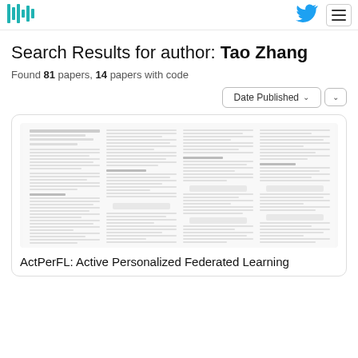[Figure (logo): Papers with Code logo (barcode-style icon in teal/cyan)]
[Figure (logo): Twitter bird icon in blue]
[Figure (other): Hamburger menu icon button]
Search Results for author: Tao Zhang
Found 81 papers, 14 papers with code
[Figure (other): Date Published sort dropdown button with chevron and secondary chevron button]
[Figure (screenshot): Thumbnail preview of a research paper titled ActPerFL: Active Personalized Federated Learning, showing multiple columns of text and mathematical formulas]
ActPerFL: Active Personalized Federated Learning